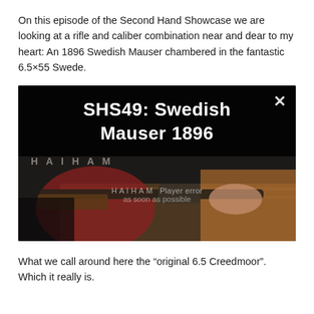On this episode of the Second Hand Showcase we are looking at a rifle and caliber combination near and dear to my heart: An 1896 Swedish Mauser chambered in the fantastic 6.5×55 Swede.
[Figure (screenshot): A video thumbnail/screenshot showing the title 'SHS49: Swedish Mauser 1896' in white bold text on a dark overlay, with a person in a red shirt holding a rifle visible in the background. A player error message is overlaid on the video.]
What we call around here the “original 6.5 Creedmoor”. Which it really is.